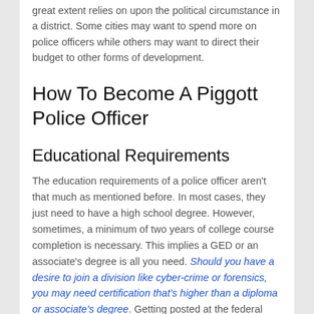great extent relies on upon the political circumstance in a district. Some cities may want to spend more on police officers while others may want to direct their budget to other forms of development.
How To Become A Piggott Police Officer
Educational Requirements
The education requirements of a police officer aren't that much as mentioned before. In most cases, they just need to have a high school degree. However, sometimes, a minimum of two years of college course completion is necessary. This implies a GED or an associate's degree is all you need. Should you have a desire to join a division like cyber-crime or forensics, you may need certification that's higher than a diploma or associate's degree. Getting posted at the federal level does require you to have a bachelor's degree. Prior to entering the police academy you must take a written quiz. This will predominantly be centred on morals, the